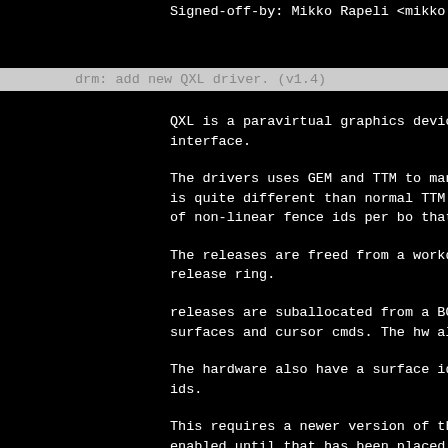Signed-off-by: Mikko Rapeli <mikko.rapeli
drm: add new QXL driver. (v1.4)
QXL is a paravirtual graphics device used
interface.
The drivers uses GEM and TTM to manage me
is quite different than normal TTM expect
of non-linear fence ids per bo that we ne
The releases are freed from a workqueue t
release ring.
releases are suballocated from a BO, ther
surfaces and cursor cmds. The hw also has
The hardware also have a surface id track
ids.
This requires a newer version of the QXL
enabled until that has been placed into y
Authors: Dave Airlie, Alon Levy
v1.1: fixup some issues in the ioctl inte
v1.2: add module device table
v1.3: fix nomodeset, fbcon leak, dumb bo
don't try flush release ring (broke